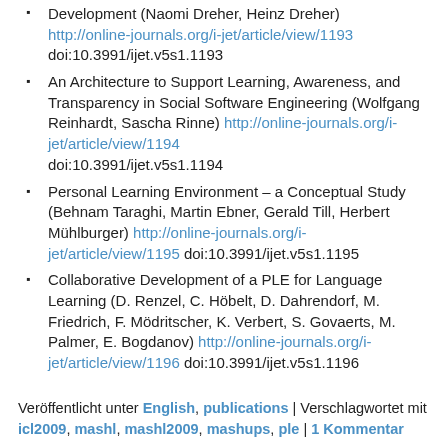Development (Naomi Dreher, Heinz Dreher) http://online-journals.org/i-jet/article/view/1193 doi:10.3991/ijet.v5s1.1193
An Architecture to Support Learning, Awareness, and Transparency in Social Software Engineering (Wolfgang Reinhardt, Sascha Rinne) http://online-journals.org/i-jet/article/view/1194 doi:10.3991/ijet.v5s1.1194
Personal Learning Environment – a Conceptual Study (Behnam Taraghi, Martin Ebner, Gerald Till, Herbert Mühlburger) http://online-journals.org/i-jet/article/view/1195 doi:10.3991/ijet.v5s1.1195
Collaborative Development of a PLE for Language Learning (D. Renzel, C. Höbelt, D. Dahrendorf, M. Friedrich, F. Mödritscher, K. Verbert, S. Govaerts, M. Palmer, E. Bogdanov) http://online-journals.org/i-jet/article/view/1196 doi:10.3991/ijet.v5s1.1196
Veröffentlicht unter English, publications | Verschlagwortet mit icl2009, mashl, mashl2009, mashups, ple | 1 Kommentar